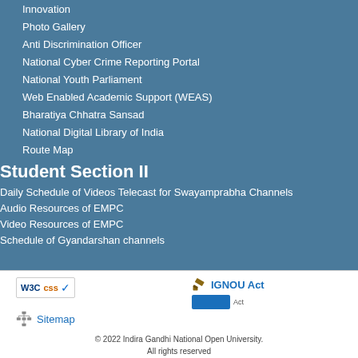Innovation
Photo Gallery
Anti Discrimination Officer
National Cyber Crime Reporting Portal
National Youth Parliament
Web Enabled Academic Support (WEAS)
Bharatiya Chhatra Sansad
National Digital Library of India
Route Map
Student Section II
Daily Schedule of Videos Telecast for Swayamprabha Channels
Audio Resources of EMPC
Video Resources of EMPC
Schedule of Gyandarshan channels
W3C CSS badge | IGNOU Act | Sitemap | © 2022 Indira Gandhi National Open University. All rights reserved